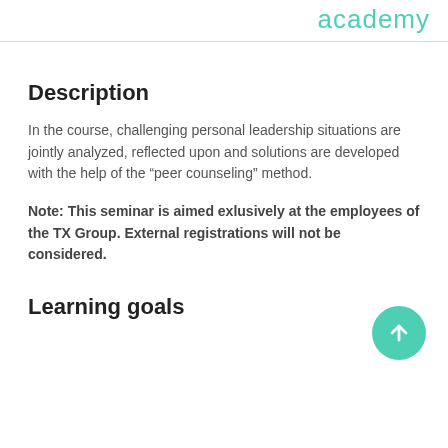academy
Description
In the course, challenging personal leadership situations are jointly analyzed, reflected upon and solutions are developed with the help of the “peer counseling” method.
Note: This seminar is aimed exlusively at the employees of the TX Group. External registrations will not be considered.
Learning goals